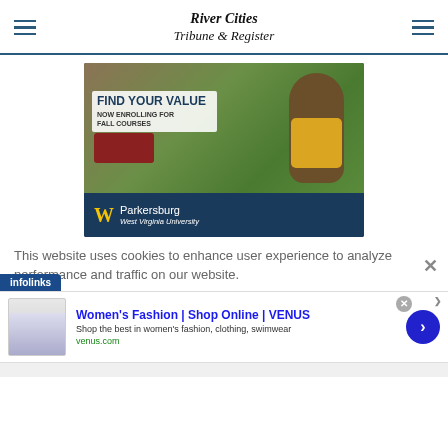River Cities Tribune & Register
[Figure (photo): WVU Parkersburg advertisement showing mascot with text 'FIND YOUR VALUE NOW ENROLLING FOR FALL COURSES' and WVU Parkersburg West Virginia University logo at bottom]
This website uses cookies to enhance user experience to analyze performance and traffic on our website.
[Figure (screenshot): Infolinks advertisement bar at bottom left]
[Figure (screenshot): Women's Fashion | Shop Online | VENUS advertisement - Shop the best in women's fashion, clothing, swimwear - venus.com]